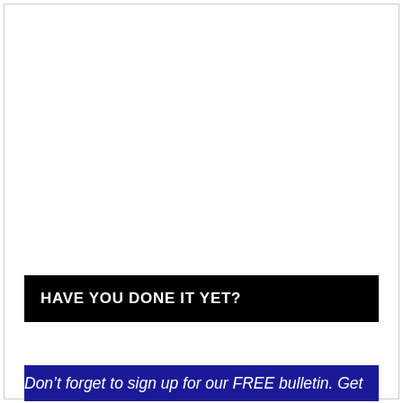HAVE YOU DONE IT YET?
Don’t forget to sign up for our FREE bulletin. Get